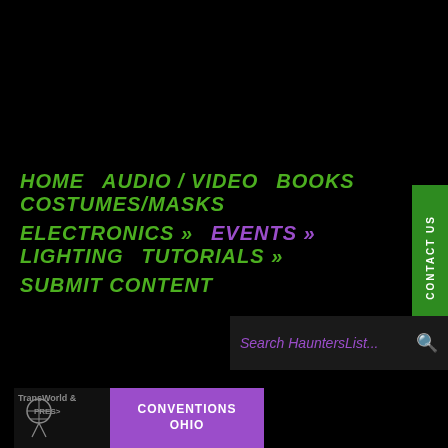HOME   AUDIO / VIDEO   BOOKS   COSTUMES/MASKS   ELECTRONICS »   EVENTS »   LIGHTING   TUTORIALS »   SUBMIT CONTENT
Search HauntersList...
[Figure (illustration): TransWorld & presents banner with purple overlay showing CONVENTIONS OHIO text, and red text below]